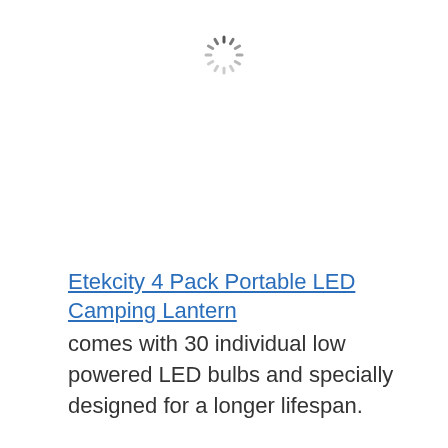[Figure (other): Loading spinner icon (rotating dashed circle indicating loading state)]
Etekcity 4 Pack Portable LED Camping Lantern comes with 30 individual low powered LED bulbs and specially designed for a longer lifespan.
It has a dimmer which allows you to adjust the brightness to fit for camping, power outage, emergency, and tent.